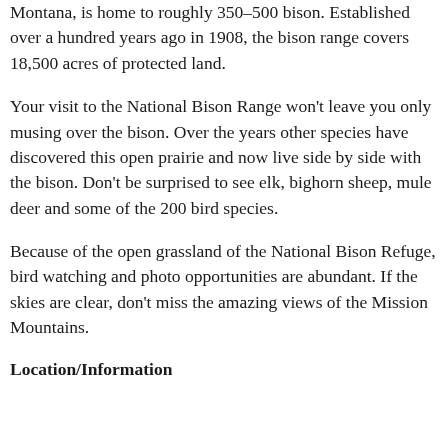Montana, is home to roughly 350–500 bison. Established over a hundred years ago in 1908, the bison range covers 18,500 acres of protected land.
Your visit to the National Bison Range won't leave you only musing over the bison. Over the years other species have discovered this open prairie and now live side by side with the bison. Don't be surprised to see elk, bighorn sheep, mule deer and some of the 200 bird species.
Because of the open grassland of the National Bison Refuge, bird watching and photo opportunities are abundant. If the skies are clear, don't miss the amazing views of the Mission Mountains.
Location/Information